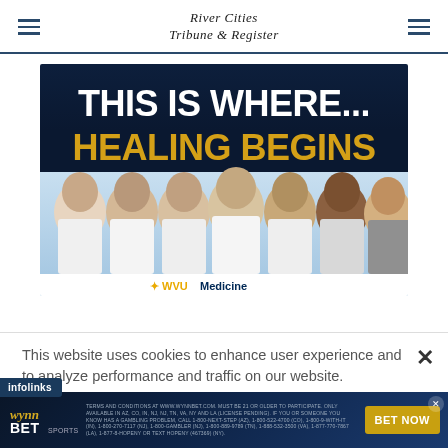River Cities Tribune & Register
[Figure (photo): WVU Medicine advertisement showing seven doctors in white coats with text 'THIS IS WHERE... HEALING BEGINS' and WVU Medicine logo at bottom]
This website uses cookies to enhance user experience and to analyze performance and traffic on our website.
[Figure (infographic): WynnBET Sportsbook advertisement with terms and conditions text and 'BET NOW' button on dark blue background]